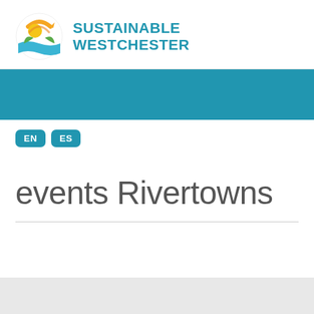[Figure (logo): Sustainable Westchester logo with circular icon showing sun, water, and leaf, with text SUSTAINABLE WESTCHESTER in teal/blue]
EN  ES
events Rivertowns